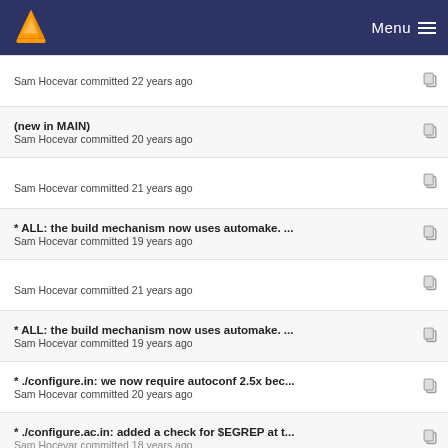VLC Menu
Sam Hocevar committed 22 years ago
(new in MAIN)
Sam Hocevar committed 20 years ago
Sam Hocevar committed 21 years ago
* ALL: the build mechanism now uses automake. ...
Sam Hocevar committed 19 years ago
Sam Hocevar committed 21 years ago
* ALL: the build mechanism now uses automake. ...
Sam Hocevar committed 19 years ago
* ./configure.in: we now require autoconf 2.5x bec...
Sam Hocevar committed 20 years ago
* ./configure.ac.in: added a check for $EGREP at t...
Sam Hocevar committed 18 years ago